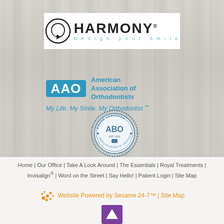[Figure (logo): Harmony Design Your Smile logo with circular arrow icon and text]
[Figure (logo): American Association of Orthodontists (AAO) badge with tagline: My Life. My Smile. My Orthodontist TM]
[Figure (logo): ABO American Board of Orthodontics Board Certified circular seal]
Home | Our Office | Take A Look Around | The Essentials | Royal Treatments | Invisalign® | Word on the Street | Say Hello! | Patient Login | Site Map
Website Powered by Sesame 24-7™ | Site Map
[Figure (illustration): Purple square with white upward arrow icon]